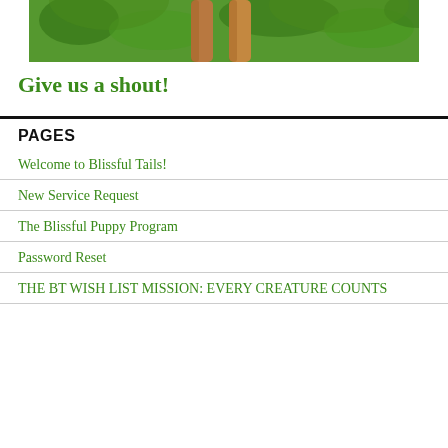[Figure (photo): Partial photo of dogs or animals outdoors with green foliage background, cropped at top]
Give us a shout!
PAGES
Welcome to Blissful Tails!
New Service Request
The Blissful Puppy Program
Password Reset
THE BT WISH LIST MISSION: EVERY CREATURE COUNTS